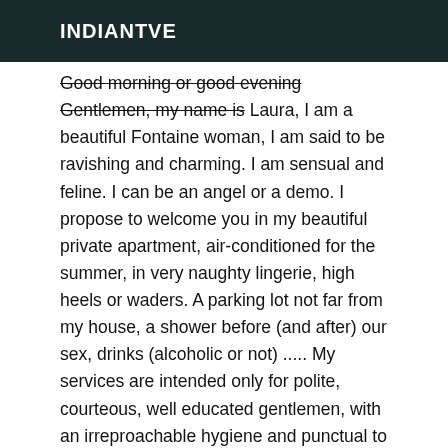INDIANTVE
Good morning or good evening Gentlemen, my name is Laura, I am a beautiful Fontaine woman, I am said to be ravishing and charming. I am sensual and feline. I can be an angel or a demo. I propose to welcome you in my beautiful private apartment, air-conditioned for the summer, in very naughty lingerie, high heels or waders. A parking lot not far from my house, a shower before (and after) our sex, drinks (alcoholic or not) ..... My services are intended only for polite, courteous, well educated gentlemen, with an irreproachable hygiene and punctual to the appointment. For appointments after 7pm, please call me well in advance, I can receive you in the evening but only if I am notified in time otherwise I would be at other occupations ;) I privilege quality over quantity so I reserve the right to accept or decline our meeting. Information and appointment only by cell phone in apparent number and in person. NO SMS NOR MMS. Caline gfe meeting (fk, owo, owotc, bls, daty, 69, cim,